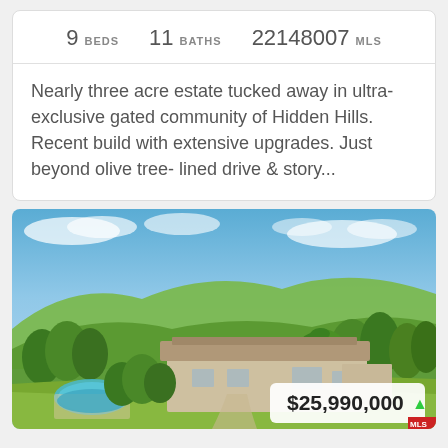9 BEDS   11 BATHS   22148007 MLS
Nearly three acre estate tucked away in ultra-exclusive gated community of Hidden Hills. Recent build with extensive upgrades. Just beyond olive tree- lined drive & story...
[Figure (photo): Aerial view of a large estate with pool amid lush greenery and hills, with a price badge showing $25,990,000 and an upward arrow]